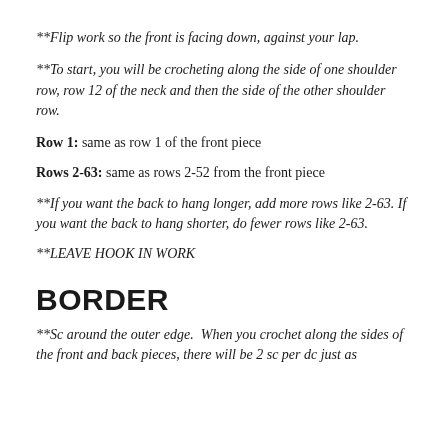**Flip work so the front is facing down, against your lap.
**To start, you will be crocheting along the side of one shoulder row, row 12 of the neck and then the side of the other shoulder row.
Row 1: same as row 1 of the front piece
Rows 2-63: same as rows 2-52 from the front piece
**If you want the back to hang longer, add more rows like 2-63. If you want the back to hang shorter, do fewer rows like 2-63.
**LEAVE HOOK IN WORK
BORDER
**Sc around the outer edge.  When you crochet along the sides of the front and back pieces, there will be 2 sc per dc just as